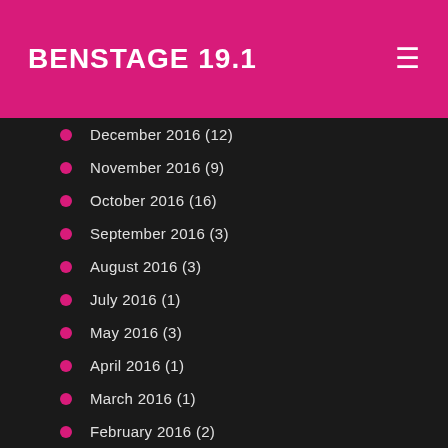BENSTAGE 19.1
December 2016 (12)
November 2016 (9)
October 2016 (16)
September 2016 (3)
August 2016 (3)
July 2016 (1)
May 2016 (3)
April 2016 (1)
March 2016 (1)
February 2016 (2)
January 2016 (1)
December 2015 (1)